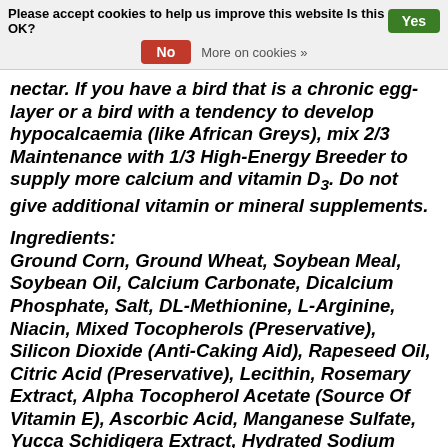Please accept cookies to help us improve this website Is this OK? Yes No More on cookies »
nectar. If you have a bird that is a chronic egg-layer or a bird with a tendency to develop hypocalcaemia (like African Greys), mix 2/3 Maintenance with 1/3 High-Energy Breeder to supply more calcium and vitamin D3. Do not give additional vitamin or mineral supplements.
Ingredients: Ground Corn, Ground Wheat, Soybean Meal, Soybean Oil, Calcium Carbonate, Dicalcium Phosphate, Salt, DL-Methionine, L-Arginine, Niacin, Mixed Tocopherols (Preservative), Silicon Dioxide (Anti-Caking Aid), Rapeseed Oil, Citric Acid (Preservative), Lecithin, Rosemary Extract, Alpha Tocopherol Acetate (Source Of Vitamin E), Ascorbic Acid, Manganese Sulfate, Yucca Schidigera Extract, Hydrated Sodium Calcium Aluminosilicate, Dried Yeast, Biotin